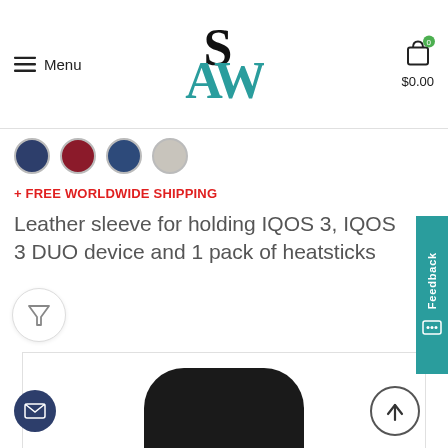Menu  SAW  $0.00
[Figure (other): Four color swatches: navy blue, dark red, blue, light gray]
+ FREE WORLDWIDE SHIPPING
Leather sleeve for holding IQOS 3, IQOS 3 DUO device and 1 pack of heatsticks
[Figure (other): Feedback tab on right side with feedback text and chat icon]
[Figure (photo): Product photo of a black leather sleeve/case for IQOS device, partially visible at bottom of page]